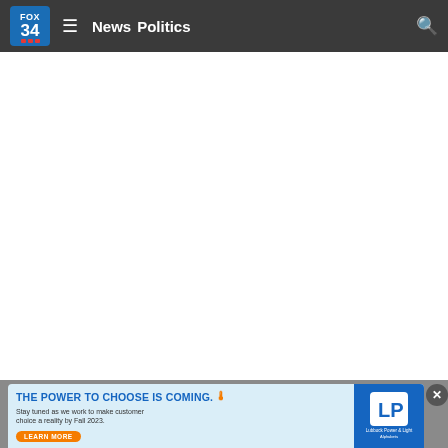FOX 34  ≡  News  Politics  🔍
ADVERTISEMENT
ADVERTISEMENT
[Figure (infographic): Bottom banner advertisement: 'THE POWER TO CHOOSE IS COMING.' with thermometer icon, subtext 'Stay tuned as we work to make customer choice a reality by Fall 2023.', orange LEARN MORE button, and Lubbock Power & Light logo on blue background. Close button (X) on far right.]